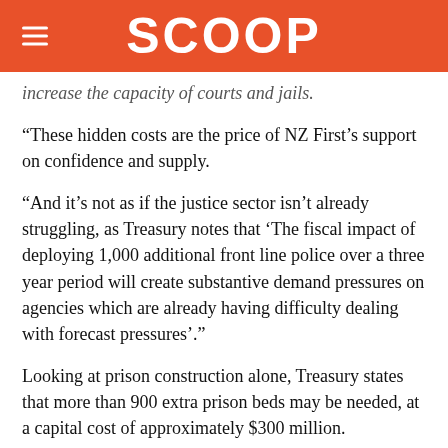SCOOP
increase the capacity of courts and jails.
“These hidden costs are the price of NZ First’s support on confidence and supply.
“And it’s not as if the justice sector isn’t already struggling, as Treasury notes that ‘The fiscal impact of deploying 1,000 additional front line police over a three year period will create substantive demand pressures on agencies which are already having difficulty dealing with forecast pressures’.”
Looking at prison construction alone, Treasury states that more than 900 extra prison beds may be needed, at a capital cost of approximately $300 million.
“Labour’s plans to reduce the prison population by letting them out of jail will also be undermined by their deal with NZ First, as Treasury note that it is ‘highly unlikely that there are any short term measures…